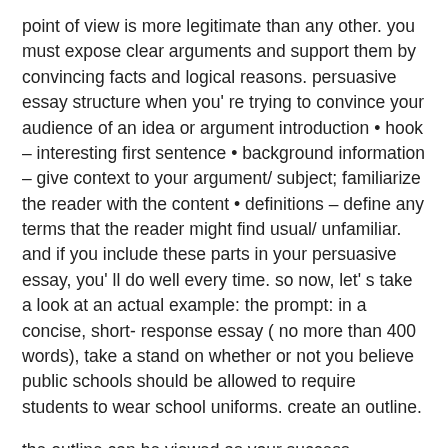point of view is more legitimate than any other. you must expose clear arguments and support them by convincing facts and logical reasons. persuasive essay structure when you' re trying to convince your audience of an idea or argument introduction • hook – interesting first sentence • background information – give context to your argument/ subject; familiarize the reader with the content • definitions – define any terms that the reader might find usual/ unfamiliar. and if you include these parts in your persuasive essay, you' ll do well every time. so now, let' s take a look at an actual example: the prompt: in a concise, short- response essay ( no more than 400 words), take a stand on whether or not you believe public schools should be allowed to require students to wear school uniforms. create an outline.
the outline can be viewed as your success- insurance policy. distill the key ideas you are trying to convey to one or two sentences. edit and proofread. having gone through the exultation and agony of the essay writing process, do not forget to edit your work. an essay is, generally, a piece of